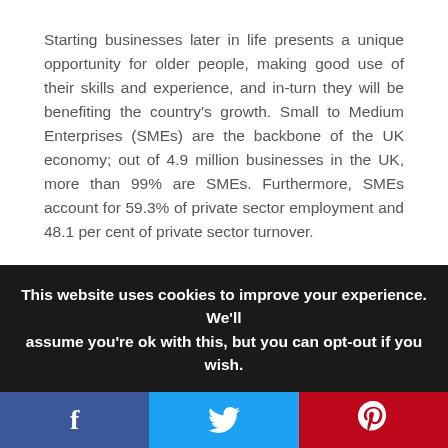Starting businesses later in life presents a unique opportunity for older people, making good use of their skills and experience, and in-turn they will be benefiting the country's growth. Small to Medium Enterprises (SMEs) are the backbone of the UK economy; out of 4.9 million businesses in the UK, more than 99% are SMEs. Furthermore, SMEs account for 59.3% of private sector employment and 48.1 per cent of private sector turnover.
Today, the charity has 27,000 clients and there have been lots of news businesses started as a result. Research carried out by the charity suggests the
This website uses cookies to improve your experience. We'll assume you're ok with this, but you can opt-out if you wish.